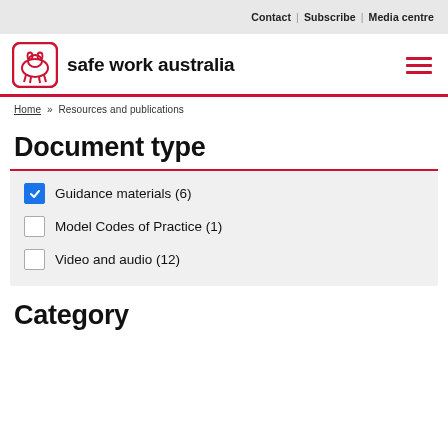Contact | Subscribe | Media centre
[Figure (logo): Safe Work Australia logo — a wombat icon in red outline inside a rounded square, followed by the text 'safe work australia' in bold black]
Home » Resources and publications
Document type
Guidance materials (6) [checked]
Model Codes of Practice (1) [unchecked]
Video and audio (12) [unchecked]
Category